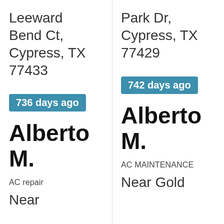Leeward Bend Ct, Cypress, TX 77433
Park Dr, Cypress, TX 77429
736 days ago
742 days ago
Alberto M.
Alberto M.
AC repair
AC MAINTENANCE
Near
Near Gold